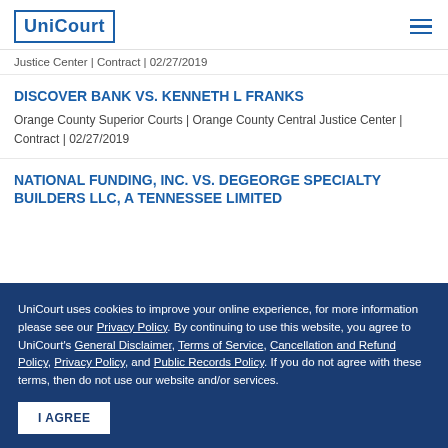UniCourt
Justice Center | Contract | 02/27/2019
DISCOVER BANK VS. KENNETH L FRANKS
Orange County Superior Courts | Orange County Central Justice Center | Contract | 02/27/2019
NATIONAL FUNDING, INC. VS. DEGEORGE SPECIALTY BUILDERS LLC, A TENNESSEE LIMITED
UniCourt uses cookies to improve your online experience, for more information please see our Privacy Policy. By continuing to use this website, you agree to UniCourt's General Disclaimer, Terms of Service, Cancellation and Refund Policy, Privacy Policy, and Public Records Policy. If you do not agree with these terms, then do not use our website and/or services.
I AGREE